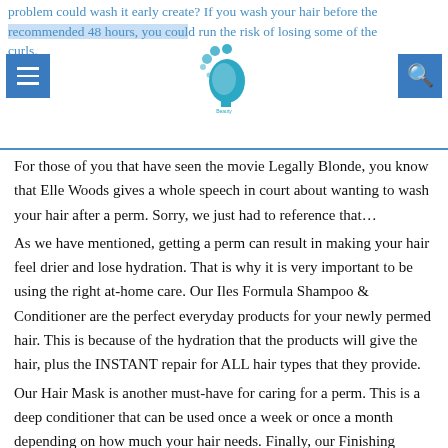problem could wash it early create? If you wash your hair before the recommended 48 hours, you could run the risk of losing some of the curls.
For those of you that have seen the movie Legally Blonde, you know that Elle Woods gives a whole speech in court about wanting to wash your hair after a perm. Sorry, we just had to reference that…
As we have mentioned, getting a perm can result in making your hair feel drier and lose hydration. That is why it is very important to be using the right at-home care. Our Iles Formula Shampoo & Conditioner are the perfect everyday products for your newly permed hair. This is because of the hydration that the products will give the hair, plus the INSTANT repair for ALL hair types that they provide.
Our Hair Mask is another must-have for caring for a perm. This is a deep conditioner that can be used once a week or once a month depending on how much your hair needs. Finally, our Finishing Serum will become your hair BFF. This is because it is an anti-frizz product that hydrates the curls and leaves you with soft, luscious beautiful bouncy curls every time. Works perfect for your beachy textures also. Finally, the distribution comb that comes in the kit will be your go-to